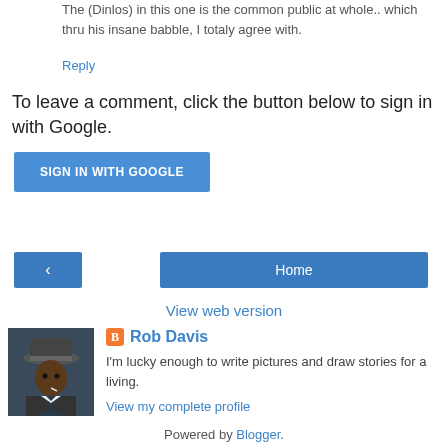The (Dinlos) in this one is the common public at whole.. which thru his insane babble, I totaly agree with.
Reply
To leave a comment, click the button below to sign in with Google.
SIGN IN WITH GOOGLE
< (previous)
Home
View web version
[Figure (photo): Profile photo of Rob Davis, a man in a hat and suit jacket]
Rob Davis
I'm lucky enough to write pictures and draw stories for a living.
View my complete profile
Powered by Blogger.